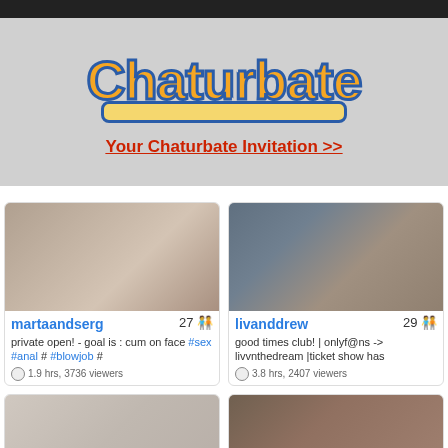[Figure (logo): Chaturbate logo in orange/yellow with dark blue outline on grey background]
Your Chaturbate Invitation >>
[Figure (photo): Thumbnail image for martaandserg stream]
martaandserg 27
private open! - goal is : cum on face #sex #anal # #blowjob #
1.9 hrs, 3736 viewers
[Figure (photo): Thumbnail image for livanddrew stream]
livanddrew 29
good times club! | onlyf@ns -> livvnthedream |ticket show has
3.8 hrs, 2407 viewers
[Figure (photo): Thumbnail image bottom left stream]
[Figure (photo): Thumbnail image bottom right stream]